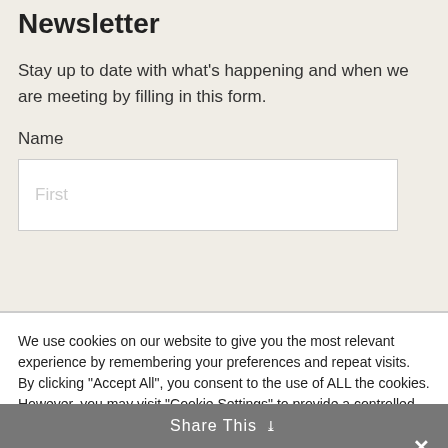Newsletter
Stay up to date with what's happening and when we are meeting by filling in this form.
Name
[Figure (other): A text input field with placeholder text 'First']
We use cookies on our website to give you the most relevant experience by remembering your preferences and repeat visits. By clicking "Accept All", you consent to the use of ALL the cookies. However, you may visit "Cookie Settings" to provide a controlled consent.
Cookie Settings
Accept All
Share This ∨  ✕